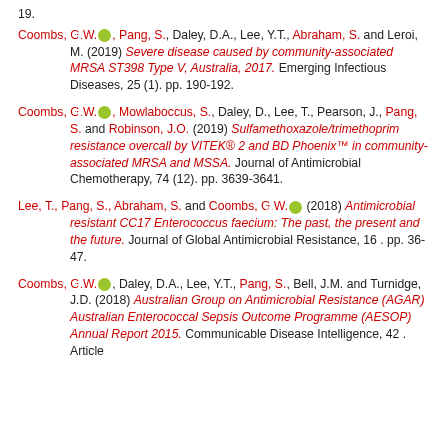19.
Coombs, G.W. [orcid], Pang, S., Daley, D.A., Lee, Y.T., Abraham, S. and Leroi, M. (2019) Severe disease caused by community-associated MRSA ST398 Type V, Australia, 2017. Emerging Infectious Diseases, 25 (1). pp. 190-192.
Coombs, G.W. [orcid], Mowlaboccus, S., Daley, D., Lee, T., Pearson, J., Pang, S. and Robinson, J.O. (2019) Sulfamethoxazole/trimethoprim resistance overcall by VITEK® 2 and BD Phoenix™ in community-associated MRSA and MSSA. Journal of Antimicrobial Chemotherapy, 74 (12). pp. 3639-3641.
Lee, T., Pang, S., Abraham, S. and Coombs, G.W. [orcid] (2018) Antimicrobial resistant CC17 Enterococcus faecium: The past, the present and the future. Journal of Global Antimicrobial Resistance, 16 . pp. 36-47.
Coombs, G.W. [orcid], Daley, D.A., Lee, Y.T., Pang, S., Bell, J.M. and Turnidge, J.D. (2018) Australian Group on Antimicrobial Resistance (AGAR) Australian Enterococcal Sepsis Outcome Programme (AESOP) Annual Report 2015. Communicable Disease Intelligence, 42 . Article